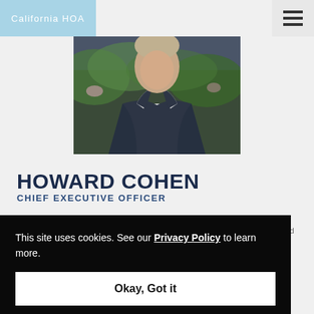California HOA
[Figure (photo): Professional headshot of Howard Cohen, a man in a dark suit with a striped tie, photographed outdoors with green foliage in background]
HOWARD COHEN
CHIEF EXECUTIVE OFFICER
This site uses cookies. See our Privacy Policy to learn more.
Okay, Got it
...erved ...role ...s, ...ing ...irm's systematic and intelligent approach to delivering